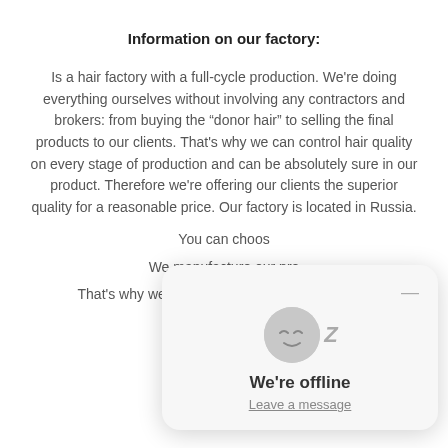Information on our factory:
Is a hair factory with a full-cycle production. We're doing everything ourselves without involving any contractors and brokers: from buying the “donor hair” to selling the final products to our clients. That's why we can control hair quality on every stage of production and can be absolutely sure in our product. Therefore we're offering our clients the superior quality for a reasonable price. Our factory is located in Russia.
You can choos
We manufacture our pro
That's why we can guarantee its highest quality
[Figure (screenshot): Live chat widget showing 'We're offline' message with a sleeping face emoji and 'Leave a message' link, with a minimize button.]